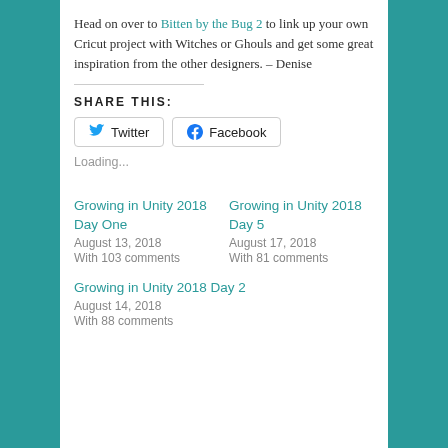Head on over to Bitten by the Bug 2 to link up your own Cricut project with Witches or Ghouls and get some great inspiration from the other designers. – Denise
SHARE THIS:
Loading...
Growing in Unity 2018 Day One
August 13, 2018
With 103 comments
Growing in Unity 2018 Day 5
August 17, 2018
With 81 comments
Growing in Unity 2018 Day 2
August 14, 2018
With 88 comments